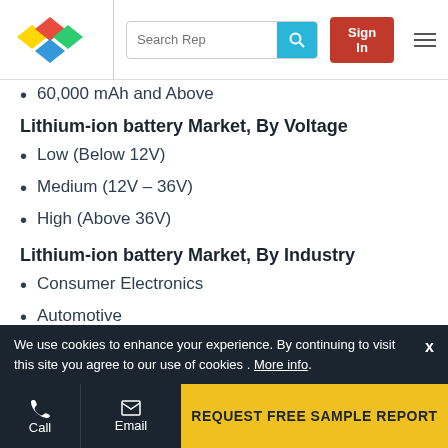Search Rep | Sign In
60,000 mAh and Above
Lithium-ion battery Market, By Voltage
Low (Below 12V)
Medium (12V – 36V)
High (Above 36V)
Lithium-ion battery Market, By Industry
Consumer Electronics
Automotive
Aerospace
Marine
We use cookies to enhance your experience. By continuing to visit this site you agree to our use of cookies . More info.
Call | Email | REQUEST FREE SAMPLE REPORT